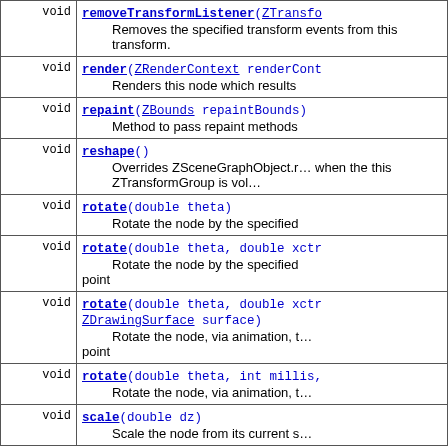| Return Type | Method and Description |
| --- | --- |
| void | removeTransformListener(ZTransfo…
        Removes the specified transform events from this transform. |
| void | render(ZRenderContext renderCont…
        Renders this node which results |
| void | repaint(ZBounds repaintBounds)
        Method to pass repaint methods |
| void | reshape()
        Overrides ZSceneGraphObject.r… when the this ZTransformGroup is vol… |
| void | rotate(double theta)
        Rotate the node by the specified |
| void | rotate(double theta, double xctr…
        Rotate the node by the specified point |
| void | rotate(double theta, double xctr… ZDrawingSurface surface)
        Rotate the node, via animation, t… point |
| void | rotate(double theta, int millis,…
        Rotate the node, via animation, t… |
| void | scale(double dz)
        Scale the node from its current s… |